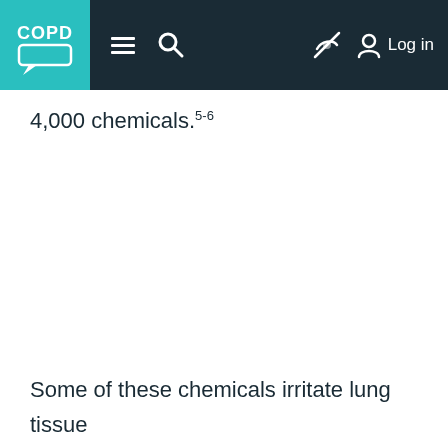COPD [logo] navigation bar with menu, search, and Log in
4,000 chemicals.5-6
Some of these chemicals irritate lung tissue